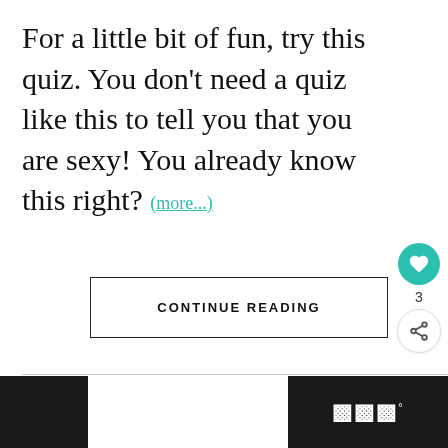For a little bit of fun, try this quiz. You don't need a quiz like this to tell you that you are sexy! You already know this right? (more...)
CONTINUE READING
[Figure (other): Heart/like button (teal circle with white heart icon), like count showing 3, and a share button (circle with share icon)]
[Figure (other): Bottom navigation bar with dark left and right sections; right section shows a logo mark resembling stylized 'W' with a degree symbol]